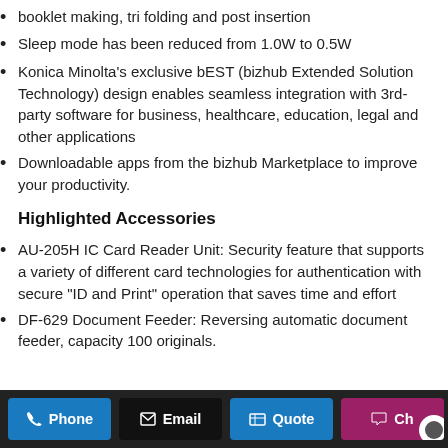booklet making, tri folding and post insertion
Sleep mode has been reduced from 1.0W to 0.5W
Konica Minolta's exclusive bEST (bizhub Extended Solution Technology) design enables seamless integration with 3rd-party software for business, healthcare, education, legal and other applications
Downloadable apps from the bizhub Marketplace to improve your productivity.
Highlighted Accessories
AU-205H IC Card Reader Unit: Security feature that supports a variety of different card technologies for authentication with secure "ID and Print" operation that saves time and effort
DF-629 Document Feeder: Reversing automatic document feeder, capacity 100 originals.
Phone | Email | Quote | Chat